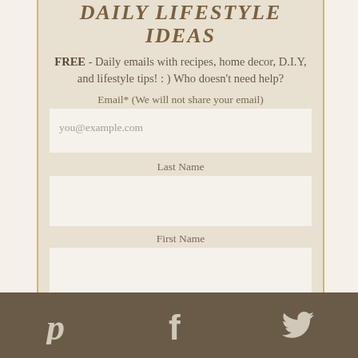Daily Lifestyle Ideas
FREE - Daily emails with recipes, home decor, D.I.Y, and lifestyle tips! : ) Who doesn't need help?
Email* (We will not share your email)
you@example.com
Last Name
First Name
[Figure (infographic): Green submit button at bottom of form]
Pinterest, Facebook, Twitter social icons footer bar